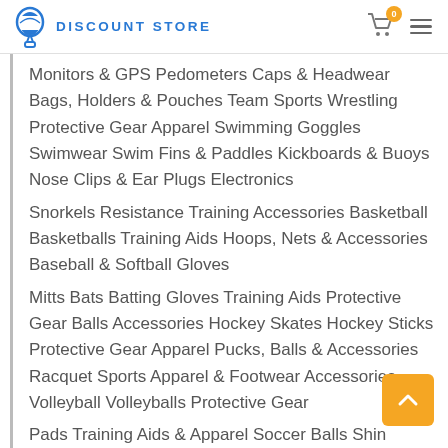DISCOUNT STORE
Monitors & GPS Pedometers Caps & Headwear Bags, Holders & Pouches Team Sports Wrestling Protective Gear Apparel Swimming Goggles Swimwear Swim Fins & Paddles Kickboards & Buoys Nose Clips & Ear Plugs Electronics
Snorkels Resistance Training Accessories Basketball Basketballs Training Aids Hoops, Nets & Accessories Baseball & Softball Gloves
Mitts Bats Batting Gloves Training Aids Protective Gear Balls Accessories Hockey Skates Hockey Sticks Protective Gear Apparel Pucks, Balls & Accessories Racquet Sports Apparel & Footwear Accessories Volleyball Volleyballs Protective Gear
Pads Training Aids & Apparel Soccer Balls Shin Guards Clothing Training Equipment Football...